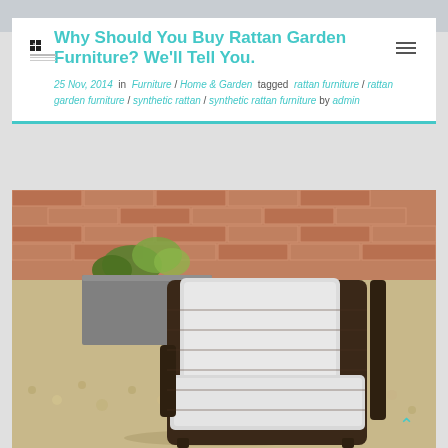Why Should You Buy Rattan Garden Furniture? We'll Tell You.
25 Nov, 2014  in  Furniture / Home & Garden  tagged  rattan furniture / rattan garden furniture / synthetic rattan / synthetic rattan furniture  by  admin
[Figure (photo): Outdoor rattan garden chair with white cushions, dark wicker weave construction, placed on a gravel surface near a brick wall with plants in a metal planter in the background.]